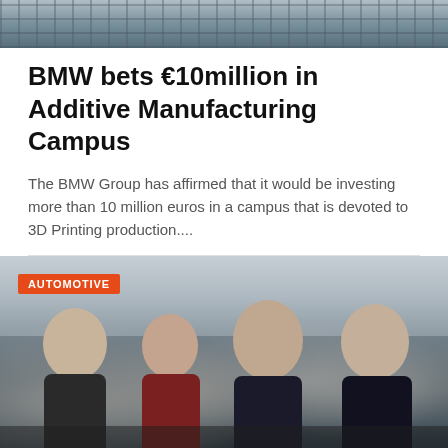[Figure (photo): Top portion of a building or architectural structure, partially cropped, with grey/teal tones]
BMW bets €10million in Additive Manufacturing Campus
The BMW Group has affirmed that it would be investing more than 10 million euros in a campus that is devoted to 3D Printing production....
[Figure (photo): Four people (two men and a woman and another man) standing together posing for a photo, with an AUTOMOTIVE category tag overlay in orange. Background appears to be a wintry outdoor scene. The group appears to be holding something together at the bottom.]